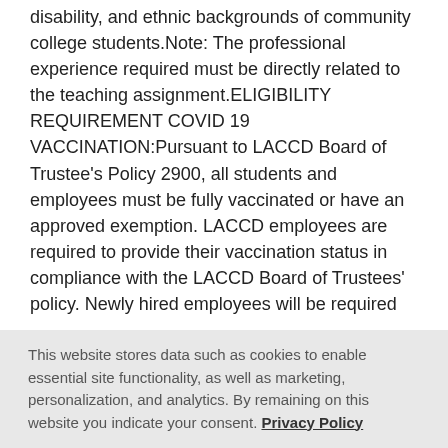disability, and ethnic backgrounds of community college students.Note: The professional experience required must be directly related to the teaching assignment.ELIGIBILITY REQUIREMENT COVID 19 VACCINATION:Pursuant to LACCD Board of Trustee's Policy 2900, all students and employees must be fully vaccinated or have an approved exemption. LACCD employees are required to provide their vaccination status in compliance with the LACCD Board of Trustees' policy. Newly hired employees will be required
This website stores data such as cookies to enable essential site functionality, as well as marketing, personalization, and analytics. By remaining on this website you indicate your consent. Privacy Policy